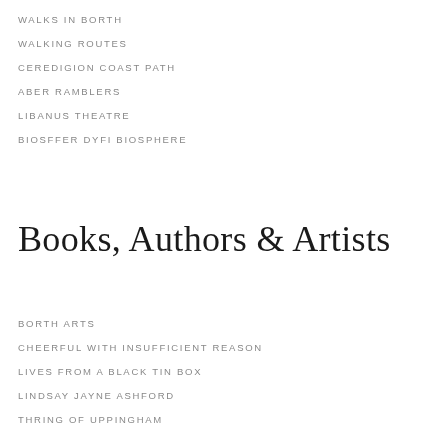WALKS IN BORTH
WALKING ROUTES
CEREDIGION COAST PATH
ABER RAMBLERS
LIBANUS THEATRE
BIOSFFER DYFI BIOSPHERE
Books, Authors & Artists
BORTH ARTS
CHEERFUL WITH INSUFFICIENT REASON
LIVES FROM A BLACK TIN BOX
LINDSAY JAYNE ASHFORD
THRING OF UPPINGHAM